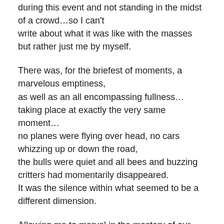during this event and not standing in the midst of a crowd…so I can't write about what it was like with the masses but rather just me by myself.
There was, for the briefest of moments, a marvelous emptiness,
as well as an all encompassing fullness…
taking place at exactly the very same moment…
no planes were flying over head, no cars whizzing up or down the road,
the bulls were quiet and all bees and buzzing critters had momentarily disappeared.
It was the silence within what seemed to be a different dimension.
Allowing me to marvel in the mastery of our Awesome